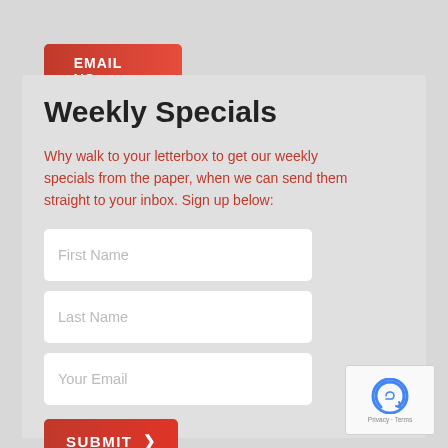[Figure (other): Red button with envelope icon and text EMAIL US ABOUT THIS CAR with right arrow]
Weekly Specials
Why walk to your letterbox to get our weekly specials from the paper, when we can send them straight to your inbox. Sign up below:
[Figure (other): Form input field with placeholder text First Name]
[Figure (other): Form input field with placeholder text Last Name]
[Figure (other): Form input field with placeholder text Your Email]
[Figure (other): Red SUBMIT button with right arrow chevron]
[Figure (other): reCAPTCHA widget with Privacy and Terms links]